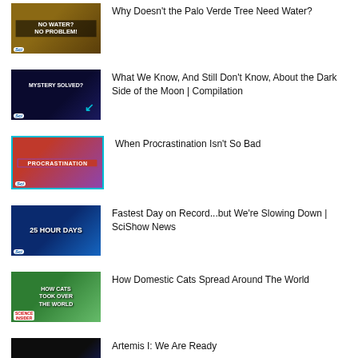Why Doesn't the Palo Verde Tree Need Water?
What We Know, And Still Don't Know, About the Dark Side of the Moon | Compilation
When Procrastination Isn't So Bad
Fastest Day on Record...but We're Slowing Down | SciShow News
How Domestic Cats Spread Around The World
Artemis I: We Are Ready